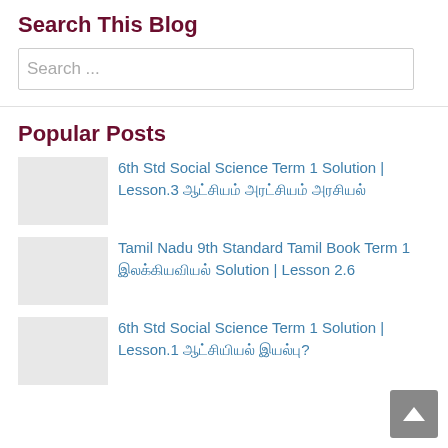Search This Blog
Search ...
Popular Posts
6th Std Social Science Term 1 Solution | Lesson.3 ஆட்டம் அரட்சியம் அரசியல்
Tamil Nadu 9th Standard Tamil Book Term 1 இலக்கியவியல் Solution | Lesson 2.6
6th Std Social Science Term 1 Solution | Lesson.1 ஆட்சியியல் இயல்பு?